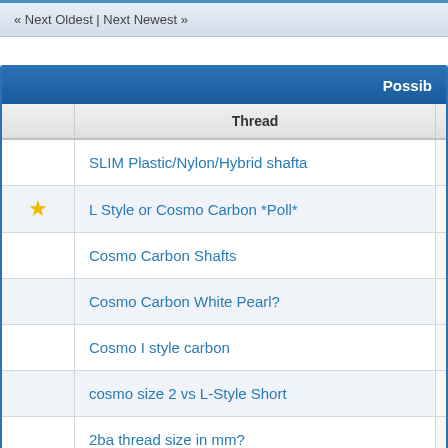« Next Oldest | Next Newest »
| Thread |
| --- |
| SLIM Plastic/Nylon/Hybrid shafta |
| L Style or Cosmo Carbon *Poll* |
| Cosmo Carbon Shafts |
| Cosmo Carbon White Pearl? |
| Cosmo I style carbon |
| cosmo size 2 vs L-Style Short |
| 2ba thread size in mm? |